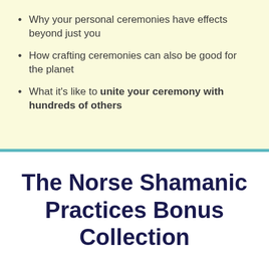Why your personal ceremonies have effects beyond just you
How crafting ceremonies can also be good for the planet
What it's like to unite your ceremony with hundreds of others
The Norse Shamanic Practices Bonus Collection